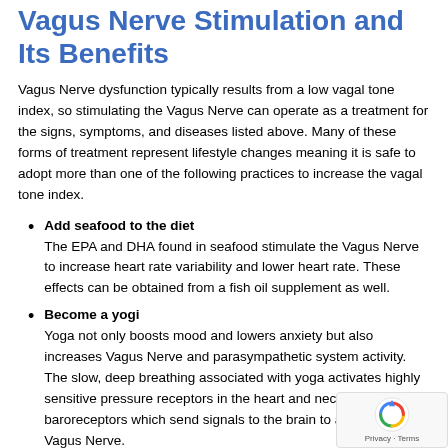Vagus Nerve Stimulation and Its Benefits
Vagus Nerve dysfunction typically results from a low vagal tone index, so stimulating the Vagus Nerve can operate as a treatment for the signs, symptoms, and diseases listed above. Many of these forms of treatment represent lifestyle changes meaning it is safe to adopt more than one of the following practices to increase the vagal tone index.
Add seafood to the diet
The EPA and DHA found in seafood stimulate the Vagus Nerve to increase heart rate variability and lower heart rate. These effects can be obtained from a fish oil supplement as well.
Become a yogi
Yoga not only boosts mood and lowers anxiety but also increases Vagus Nerve and parasympathetic system activity. The slow, deep breathing associated with yoga activates highly sensitive pressure receptors in the heart and neck called baroreceptors which send signals to the brain to activate the Vagus Nerve.
Build social connections